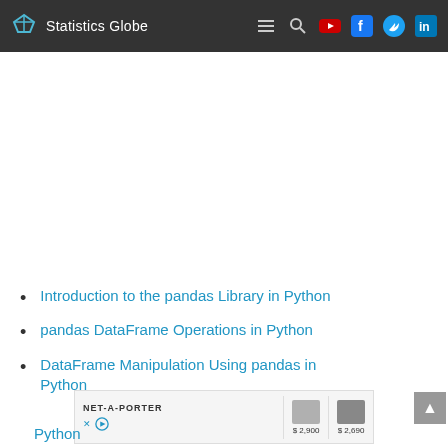Statistics Globe
Introduction to the pandas Library in Python
pandas DataFrame Operations in Python
DataFrame Manipulation Using pandas in Python
[Figure (other): NET-A-PORTER advertisement banner with product images priced at $2,900 and $2,690]
Python